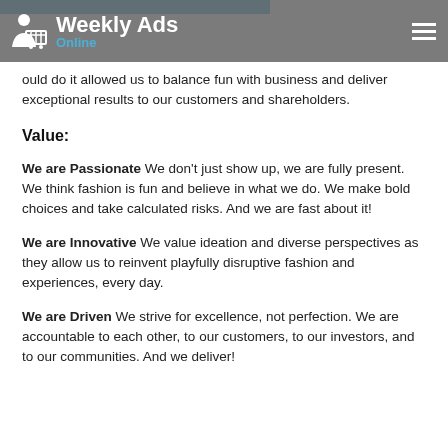Weekly Ads Online
could do it allowed us to balance fun with business and deliver exceptional results to our customers and shareholders.
Value:
We are Passionate We don't just show up, we are fully present. We think fashion is fun and believe in what we do. We make bold choices and take calculated risks. And we are fast about it!
We are Innovative We value ideation and diverse perspectives as they allow us to reinvent playfully disruptive fashion and experiences, every day.
We are Driven We strive for excellence, not perfection. We are accountable to each other, to our customers, to our investors, and to our communities. And we deliver!